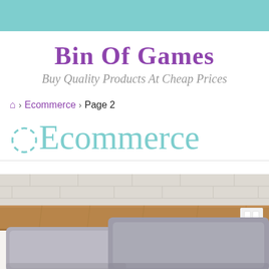Bin Of Games
Buy Quality Products At Cheap Prices
🏠 > Ecommerce > Page 2
Ecommerce
[Figure (photo): Photo of a bed with grey pillows against a wooden headboard and white brick wall background]